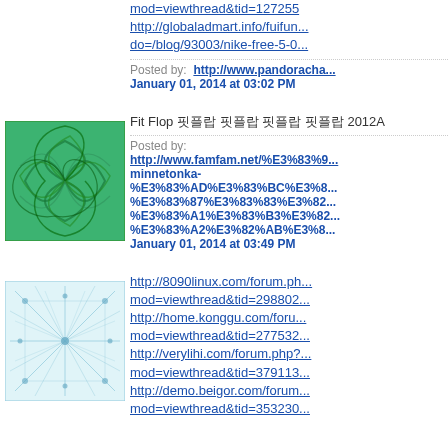mod=viewthread&tid=127255
http://globaladmart.info/fuifun... do=/blog/93003/nike-free-5-0...
Posted by: http://www.pandoracha... January 01, 2014 at 03:02 PM
[Figure (illustration): Green swirl pattern avatar image]
Fit Flop 핏플랍 핏플랍 핏플랍 핏플랍 2012A
Posted by: http://www.famfam.net/%E3%83%9... minnetonka-%E3%83%AD%E3%83%BC%E3%8... %E3%83%87%E3%83%83%E3%82... %E3%83%A1%E3%83%B3%E3%82... %E3%83%A2%E3%82%AB%E3%8... January 01, 2014 at 03:49 PM
[Figure (illustration): Light blue network/spider web pattern avatar image]
http://8090linux.com/forum.ph... mod=viewthread&tid=298802... http://home.konggu.com/foru... mod=viewthread&tid=277532... http://verylihi.com/forum.php?... mod=viewthread&tid=379113... http://demo.beigor.com/forum... mod=viewthread&tid=353230...